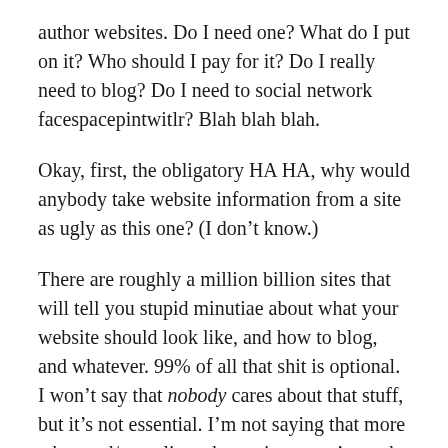author websites. Do I need one? What do I put on it? Who should I pay for it? Do I really need to blog? Do I need to social network facespacepintwitlr? Blah blah blah.
Okay, first, the obligatory HA HA, why would anybody take website information from a site as ugly as this one? (I don’t know.)
There are roughly a million billion sites that will tell you stupid minutiae about what your website should look like, and how to blog, and whatever. 99% of all that shit is optional. I won’t say that nobody cares about that stuff, but it’s not essential. I’m not saying that more advanced/complicated questions aren’t good. But sometimes I see websites that are full of all sorts of fancy bullshit but not the basics.